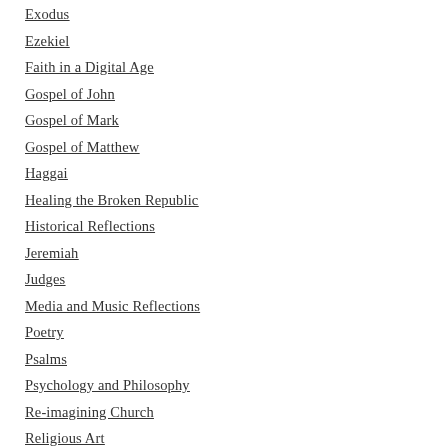Exodus
Ezekiel
Faith in a Digital Age
Gospel of John
Gospel of Mark
Gospel of Matthew
Haggai
Healing the Broken Republic
Historical Reflections
Jeremiah
Judges
Media and Music Reflections
Poetry
Psalms
Psychology and Philosophy
Re-imagining Church
Religious Art
Revelation
S…